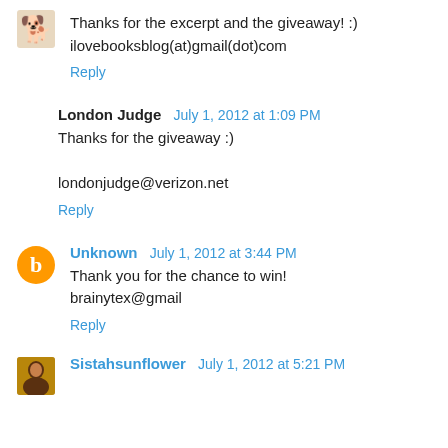Thanks for the excerpt and the giveaway! :)
ilovebooksblog(at)gmail(dot)com
Reply
London Judge  July 1, 2012 at 1:09 PM
Thanks for the giveaway :)

londonjudge@verizon.net
Reply
Unknown  July 1, 2012 at 3:44 PM
Thank you for the chance to win!
brainytex@gmail
Reply
Sistahsunflower  July 1, 2012 at 5:21 PM